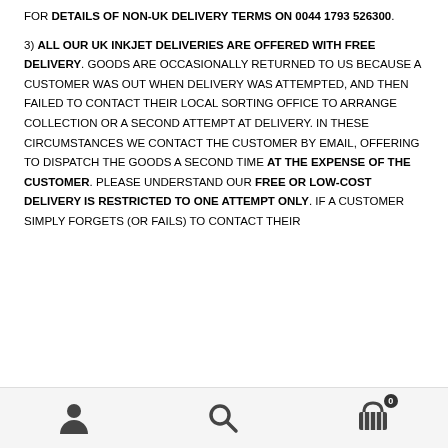FOR DETAILS OF NON-UK DELIVERY TERMS ON 0044 1793 526300.
3) ALL OUR UK INKJET DELIVERIES ARE OFFERED WITH FREE DELIVERY.  GOODS ARE OCCASIONALLY RETURNED TO US BECAUSE A CUSTOMER WAS OUT WHEN DELIVERY WAS ATTEMPTED, AND THEN FAILED TO CONTACT THEIR LOCAL SORTING OFFICE TO ARRANGE COLLECTION OR A SECOND ATTEMPT AT DELIVERY.  IN THESE CIRCUMSTANCES WE CONTACT THE CUSTOMER BY EMAIL, OFFERING TO DISPATCH THE GOODS A SECOND TIME AT THE EXPENSE OF THE CUSTOMER.  PLEASE UNDERSTAND OUR FREE OR LOW-COST DELIVERY IS RESTRICTED TO ONE ATTEMPT ONLY.  IF A CUSTOMER SIMPLY FORGETS (OR FAILS) TO CONTACT THEIR
[Figure (other): Bottom navigation bar with three icons: user/person icon, search/magnifying glass icon, and shopping cart icon with badge showing 0]